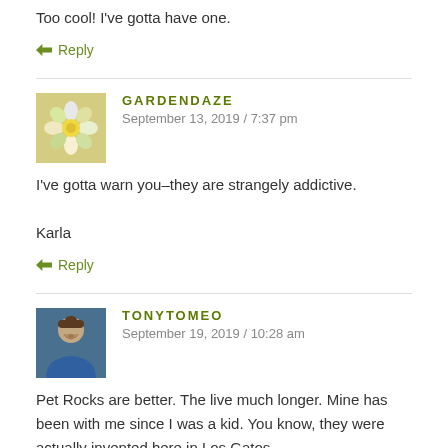Too cool! I've gotta have one.
↩ Reply
GARDENDAZE
September 13, 2019 / 7:37 pm
I've gotta warn you–they are strangely addictive.

Karla
↩ Reply
TONYTOMEO
September 19, 2019 / 10:28 am
Pet Rocks are better. The live much longer. Mine has been with me since I was a kid. You know, they were actually invented here in Los Gatos.